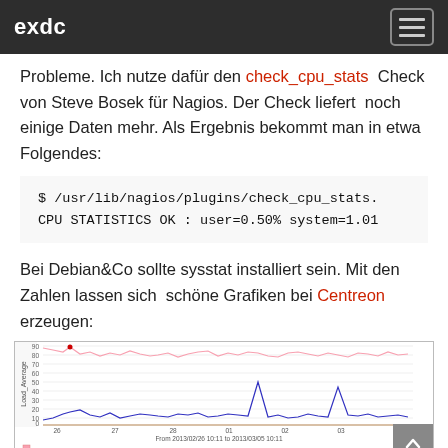exdc
Probleme. Ich nutze dafür den check_cpu_stats Check von Steve Bosek für Nagios. Der Check liefert noch einige Daten mehr. Als Ergebnis bekommt man in etwa Folgendes:
Bei Debian&Co sollte sysstat installiert sein. Mit den Zahlen lassen sich schöne Grafiken bei Centreon erzeugen:
[Figure (continuous-plot): Line chart from Centreon showing CPU statistics over time from 2013/02/26 10:11 to 2013/03/05 10:11. Pink/red line shows Load_Average around 70-90, blue line shows lower values around 0-20. Legend shows CpuIdle Last:89.95 Min:50.68 Max:98.82 Average:85.50, CpuIoWait Last:3.92 Min:0.00 Max:12.64 Average:2.45, CpuNice Last:0.00 Min:0.00 Max:296.00m Average:736.32u, CpuSteal Last:0.00 Min:0.00 Max:0.00 Average:0.00]